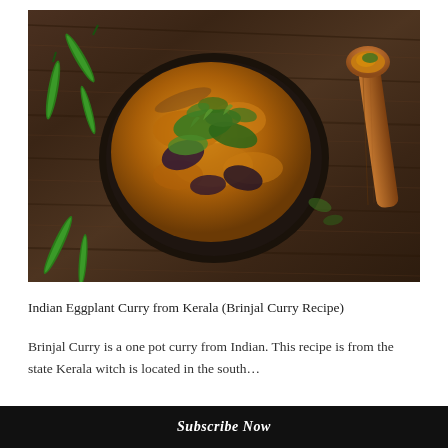[Figure (photo): Overhead shot of Indian Brinjal (eggplant) curry in a dark oval bowl garnished with herbs, green chilies on the side, and a wooden spoon with curry, all on a dark wooden table.]
Indian Eggplant Curry from Kerala (Brinjal Curry Recipe)
Brinjal Curry is a one pot curry from Indian. This recipe is from the state Kerala witch is located in the south...
Subscribe Now